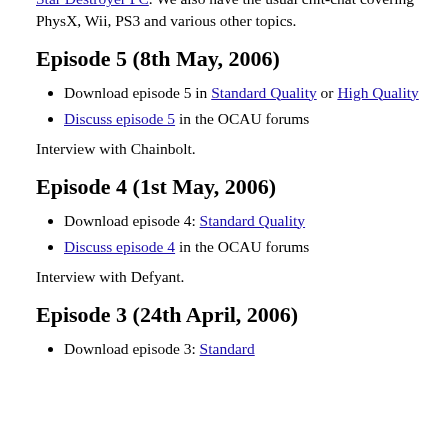Star Destroyer PC. We also have the usual chit-chat covering PhysX, Wii, PS3 and various other topics.
Episode 5 (8th May, 2006)
Download episode 5 in Standard Quality or High Quality
Discuss episode 5 in the OCAU forums
Interview with Chainbolt.
Episode 4 (1st May, 2006)
Download episode 4: Standard Quality
Discuss episode 4 in the OCAU forums
Interview with Defyant.
Episode 3 (24th April, 2006)
Download episode 3: Standard